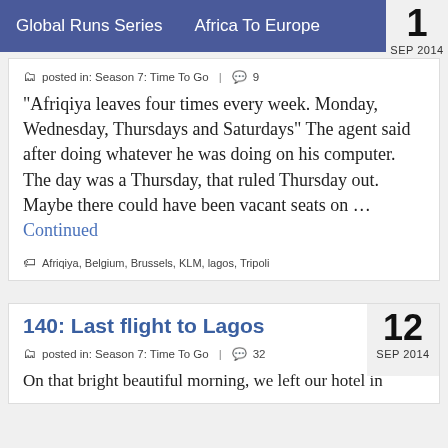Global Runs Series    Africa To Europe    1 SEP 2014
posted in: Season 7: Time To Go  |  9
“Afriqiya leaves four times every week. Monday, Wednesday, Thursdays and Saturdays” The agent said after doing whatever he was doing on his computer. The day was a Thursday, that ruled Thursday out. Maybe there could have been vacant seats on … Continued
Afriqiya, Belgium, Brussels, KLM, lagos, Tripoli
140: Last flight to Lagos
12 SEP 2014
posted in: Season 7: Time To Go  |  32
On that bright beautiful morning, we left our hotel in